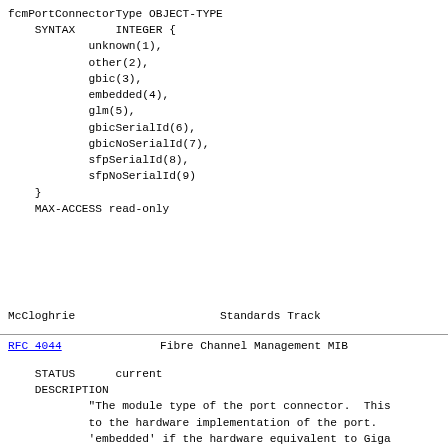fcmPortConnectorType OBJECT-TYPE
    SYNTAX      INTEGER {
            unknown(1),
            other(2),
            gbic(3),
            embedded(4),
            glm(5),
            gbicSerialId(6),
            gbicNoSerialId(7),
            sfpSerialId(8),
            sfpNoSerialId(9)
    }
    MAX-ACCESS read-only
McCloghrie                      Standards Track
RFC 4044                 Fibre Channel Management MIB
STATUS      current
    DESCRIPTION
            "The module type of the port connector.  This
            to the hardware implementation of the port.
            'embedded' if the hardware equivalent to Giga
            card (GBIC) is part of the line card and is u
            will be 'glm' if it's a gigabit link module